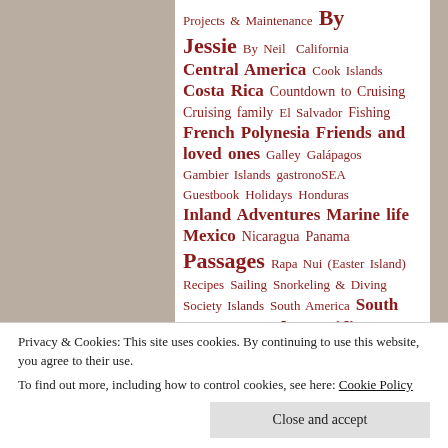[Figure (infographic): Tag cloud of blog/website categories displayed in various font sizes in dark red/maroon color on white background panel. Tags include: Projects & Maintenance, By Jessie, By Neil, California, Central America, Cook Islands, Costa Rica, Countdown to Cruising, Cruising family, El Salvador, Fishing, French Polynesia, Friends and loved ones, Galley, Galápagos, Gambier Islands, gastronoSEA, Guestbook, Holidays, Honduras, Inland Adventures, Marine life, Mexico, Nicaragua, Panama, Passages, Rapa Nui (Easter Island), Recipes, Sailing, Snorkeling & Diving, Society Islands, South America, South Pacific, South Pacific Stitch, Tonga, Video, Washington, Wildlife]
Privacy & Cookies: This site uses cookies. By continuing to use this website, you agree to their use. To find out more, including how to control cookies, see here: Cookie Policy